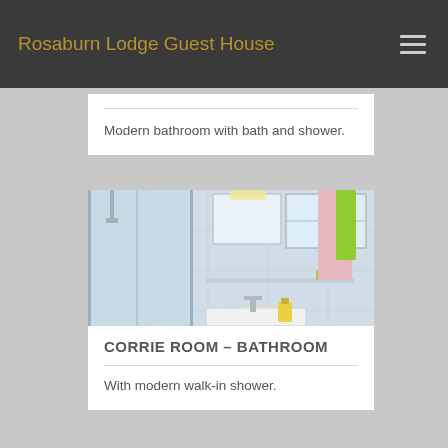Rosaburn Lodge Guest House
Modern bathroom with bath and shower.
[Figure (photo): Photograph of a modern bathroom showing a walk-in shower enclosure on the left, a mirror above a glass shelf, pink and green towels hanging on the right, and a white sink with chrome faucet in the foreground.]
CORRIE ROOM – BATHROOM
With modern walk-in shower.